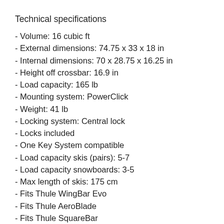Technical specifications
- Volume: 16 cubic ft
- External dimensions: 74.75 x 33 x 18 in
- Internal dimensions: 70 x 28.75 x 16.25 in
- Height off crossbar: 16.9 in
- Load capacity: 165 lb
- Mounting system: PowerClick
- Weight: 41 lb
- Locking system: Central lock
- Locks included
- One Key System compatible
- Load capacity skis (pairs): 5-7
- Load capacity snowboards: 3-5
- Max length of skis: 175 cm
- Fits Thule WingBar Evo
- Fits Thule AeroBlade
- Fits Thule SquareBar
- Fits Thule ProBar
- Fits Thule YoungBar (AdaptorAerowing) Thule Tot...